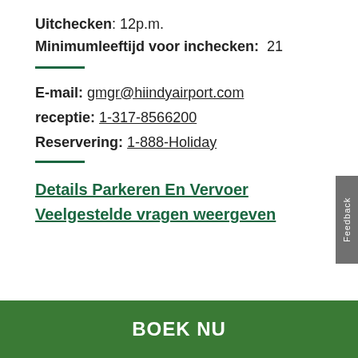Uitchecken: 12p.m.
Minimumleeftijd voor inchecken:  21
E-mail: gmgr@hiindyairport.com
receptie: 1-317-8566200
Reservering: 1-888-Holiday
Details Parkeren En Vervoer
Veelgestelde vragen weergeven
BOEK NU